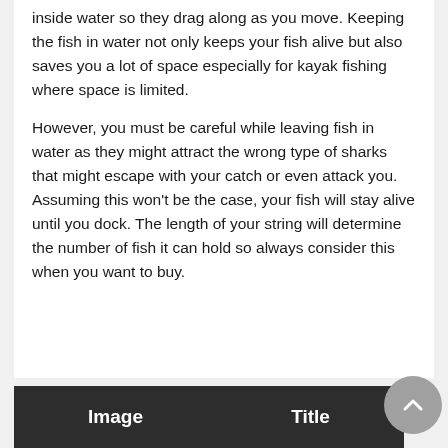inside water so they drag along as you move. Keeping the fish in water not only keeps your fish alive but also saves you a lot of space especially for kayak fishing where space is limited.
However, you must be careful while leaving fish in water as they might attract the wrong type of sharks that might escape with your catch or even attack you. Assuming this won't be the case, your fish will stay alive until you dock. The length of your string will determine the number of fish it can hold so always consider this when you want to buy.
| Image | Title |
| --- | --- |